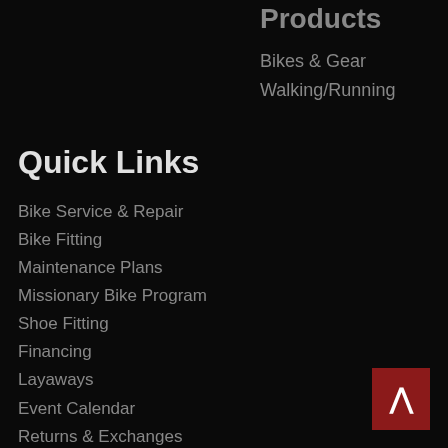Products
Bikes & Gear
Walking/Running
Quick Links
Bike Service & Repair
Bike Fitting
Maintenance Plans
Missionary Bike Program
Shoe Fitting
Financing
Layaways
Event Calendar
Returns & Exchanges
Your Privacy